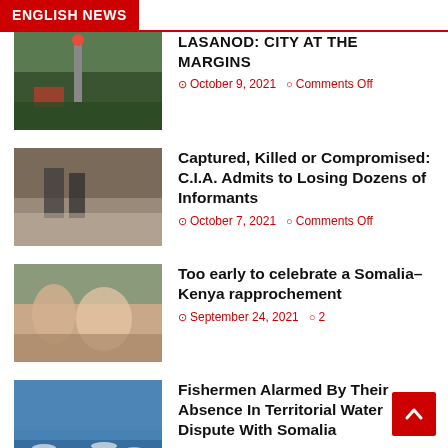ENGLISH NEWS
LASANOD: CITY AT THE MARGINS
October 9, 2021   Comments Off
Captured, Killed or Compromised: C.I.A. Admits to Losing Dozens of Informants
October 7, 2021   Comments Off
Too early to celebrate a Somalia–Kenya rapprochement
September 24, 2021   2
Fishermen Alarmed By Their Absence In Territorial Water Dispute With Somalia
March 9, 2021   Comments Off